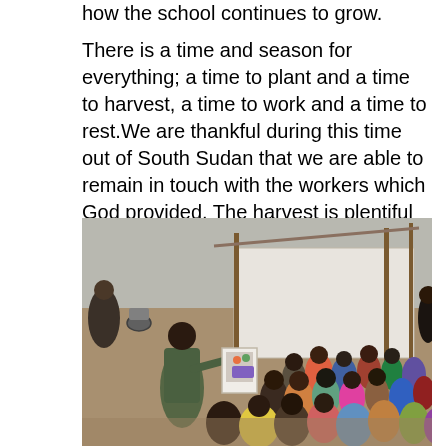how the school continues to grow.

There is a time and season for everything; a time to plant and a time to harvest, a time to work and a time to rest. We are thankful during this time out of South Sudan that we are able to remain in touch with the workers which God provided. The harvest is plentiful and there are significant opportunities and challenges ahead.
[Figure (photo): An outdoor gathering in South Sudan showing a man in a green t-shirt standing and holding up a picture/card while a large group of people including children and adults sit on the ground in front of him. Behind them is a simple structure with white cloth walls and a wooden frame, with a dry dusty landscape visible in the background.]